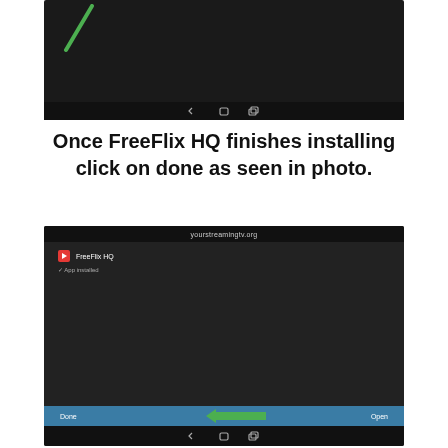[Figure (screenshot): Android tablet screen showing a dark/black screen with a green diagonal slash in the upper left corner and Android navigation bar at the bottom]
Once FreeFlix HQ finishes installing click on done as seen in photo.
[Figure (screenshot): Android tablet screen showing FreeFlix HQ app installed confirmation screen with yourstreamintv.org in the top bar, 'FreeFlix HQ' app name, '✓ App installed' message, a teal bottom bar with 'Done' and 'Open' buttons, and a green arrow pointing left toward the Done button]